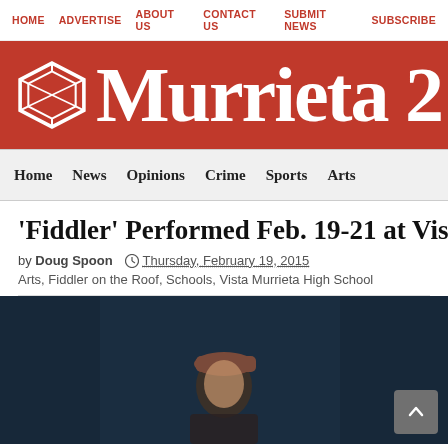HOME   ADVERTISE   ABOUT US   CONTACT US   SUBMIT NEWS   SUBSCRIBE
[Figure (logo): Murrieta 24/7 news site banner with diamond logo on red background]
Home   News   Opinions   Crime   Sports   Arts
'Fiddler' Performed Feb. 19-21 at Vista
by Doug Spoon   Thursday, February 19, 2015
Arts, Fiddler on the Roof, Schools, Vista Murrieta High School
[Figure (photo): A performer on stage wearing a cap, photographed against a dark blue curtain background]